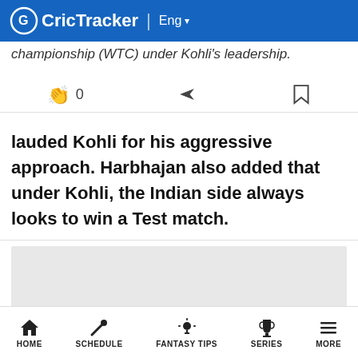CricTracker | Eng
championship (WTC) under Kohli's leadership.
0
lauded Kohli for his aggressive approach. Harbhajan also added that under Kohli, the Indian side always looks to win a Test match.
[Figure (screenshot): Gray advertisement placeholder box]
HOME   SCHEDULE   FANTASY TIPS   SERIES   MORE